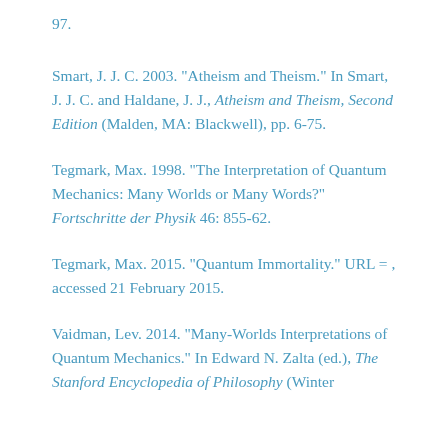97.
Smart, J. J. C. 2003. "Atheism and Theism." In Smart, J. J. C. and Haldane, J. J., Atheism and Theism, Second Edition (Malden, MA: Blackwell), pp. 6-75.
Tegmark, Max. 1998. "The Interpretation of Quantum Mechanics: Many Worlds or Many Words?" Fortschritte der Physik 46: 855-62.
Tegmark, Max. 2015. "Quantum Immortality." URL = , accessed 21 February 2015.
Vaidman, Lev. 2014. "Many-Worlds Interpretations of Quantum Mechanics." In Edward N. Zalta (ed.), The Stanford Encyclopedia of Philosophy (Winter